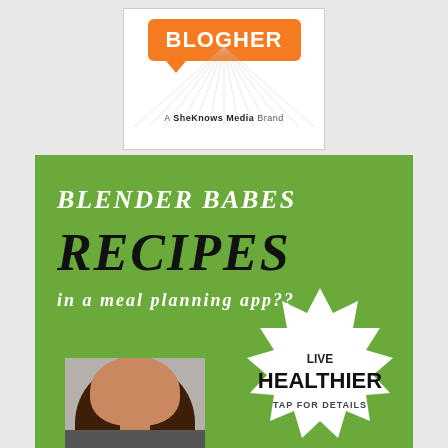[Figure (logo): BlogHer logo - orange speech bubble with BLOGHER text, rays below, and 'A SheKnows Media Brand' tagline]
[Figure (infographic): Green advertisement banner for Blender Babes Recipes in a meal planning app, with starburst badge saying LIVE HEALTHIER TAP FOR DETAILS, and a woman's photo at the bottom]